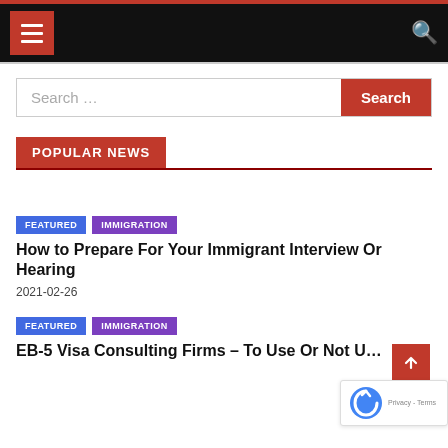Navigation bar with hamburger menu and search icon
Search …
POPULAR NEWS
FEATURED | IMMIGRATION
How to Prepare For Your Immigrant Interview Or Hearing
2021-02-26
FEATURED | IMMIGRATION
EB-5 Visa Consulting Firms – To Use Or Not …